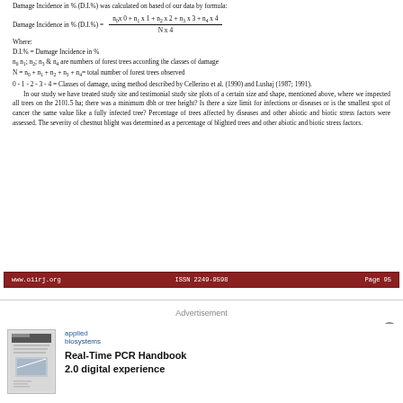Damage Incidence in % (D.I.%) was calculated on based of our data by formula:
Where:
D.I.% = Damage Incidence in %
n0 n1; n2; n3 & n4 are numbers of forest trees according the classes of damage
N = n0 + n1 + n2 + n3 + n4 = total number of forest trees observed
0 - 1 - 2 - 3 - 4 = Classes of damage, using method described by Cellerino et al. (1990) and Lushaj (1987; 1991).
In our study we have treated study site and testimonial study site plots of a certain size and shape, mentioned above, where we inspected all trees on the 2101.5 ha; there was a minimum dbh or tree height? Is there a size limit for infections or diseases or is the smallest spot of cancer the same value like a fully infected tree? Percentage of trees affected by diseases and other abiotic and biotic stress factors were assessed. The severity of chestnut blight was determined as a percentage of blighted trees and other abiotic and biotic stress factors.
www.oiirj.org    ISSN 2249-9598    Page 95